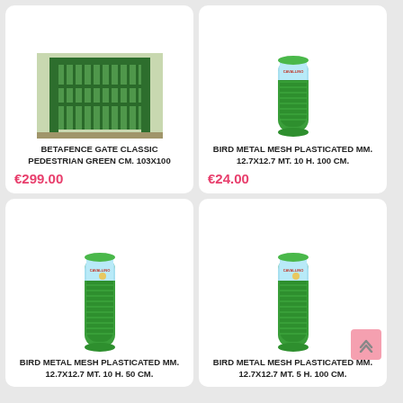[Figure (photo): Green metal pedestrian gate (Betafence Gate Classic) installed outdoors]
BETAFENCE GATE CLASSIC PEDESTRIAN GREEN CM. 103X100
€299.00
[Figure (photo): Roll of green plasticated bird metal mesh]
BIRD METAL MESH PLASTICATED MM. 12.7X12.7 MT. 10 H. 100 CM.
€24.00
[Figure (photo): Roll of green plasticated bird metal mesh with Cavallino label]
BIRD METAL MESH PLASTICATED MM. 12.7X12.7 MT. 10 H. 50 CM.
[Figure (photo): Roll of green plasticated bird metal mesh with Cavallino label]
BIRD METAL MESH PLASTICATED MM. 12.7X12.7 MT. 5 H. 100 CM.